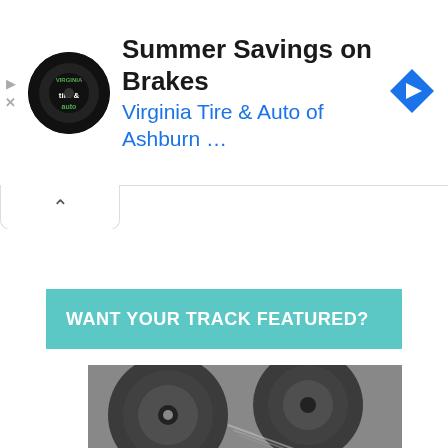[Figure (screenshot): Advertisement banner for Virginia Tire & Auto of Ashburn featuring a circular logo, title 'Summer Savings on Brakes', subtitle 'Virginia Tire & Auto of Ashburn ...', and a blue navigation diamond icon on the right. Left side has small play and X icons.]
[Figure (screenshot): Collapse/chevron up button UI element below the ad banner]
WANT YOUR TRACK FEATURED?
[Figure (photo): Black and white photo of vinyl record turntable with text overlay 'SUBMIT YOUR TRACK' in bold white letters]